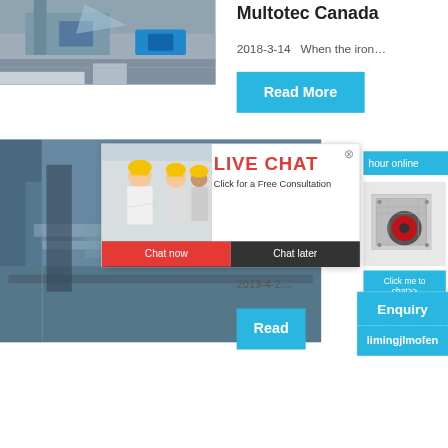[Figure (photo): Aerial view of an industrial mining or quarrying facility with machinery and blue equipment]
Multotec Canada
2018-3-14   When the iron…
Read More
[Figure (photo): Industrial facility with conveyor belts and equipment, partially visible behind live chat overlay]
[Figure (screenshot): Live chat popup with workers wearing yellow hard hats; title 'LIVE CHAT', subtitle 'Click for a Free Consultation', with 'Chat now' red button and 'Chat later' dark button, and close icon]
hour online
2013-4-2
Read
[Figure (photo): Industrial crushing or grinding machine (jaw crusher or hammer mill) on white background]
Click me to chat>>
Enquiry
limingjlmofen